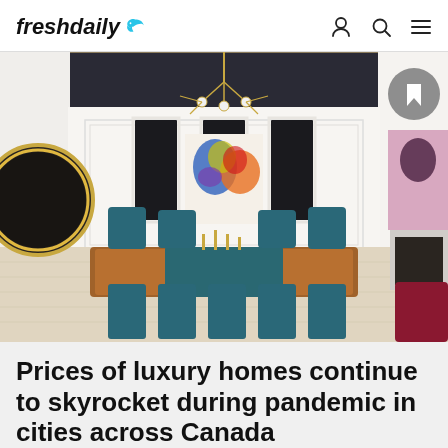freshdaily
[Figure (photo): Luxury dining room interior with blue velvet chairs, wooden dining table, colorful abstract art on wall, modern chandelier with globe lights, black ceiling accent, and pink portrait painting near fireplace with red velvet seating]
Prices of luxury homes continue to skyrocket during pandemic in cities across Canada